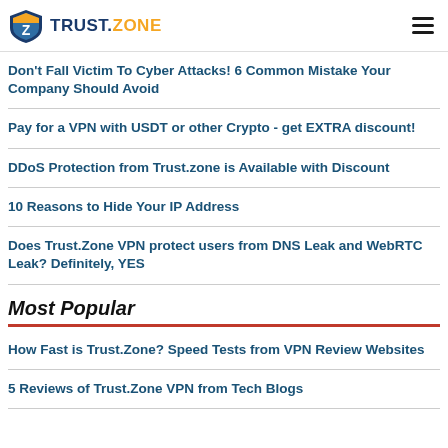TRUST.ZONE
Don't Fall Victim To Cyber Attacks! 6 Common Mistake Your Company Should Avoid
Pay for a VPN with USDT or other Crypto - get EXTRA discount!
DDoS Protection from Trust.zone is Available with Discount
10 Reasons to Hide Your IP Address
Does Trust.Zone VPN protect users from DNS Leak and WebRTC Leak? Definitely, YES
Most Popular
How Fast is Trust.Zone? Speed Tests from VPN Review Websites
5 Reviews of Trust.Zone VPN from Tech Blogs